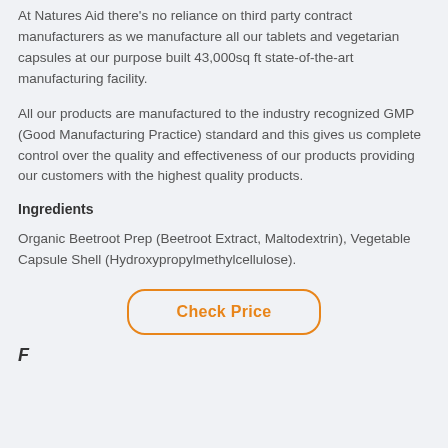At Natures Aid there's no reliance on third party contract manufacturers as we manufacture all our tablets and vegetarian capsules at our purpose built 43,000sq ft state-of-the-art manufacturing facility.
All our products are manufactured to the industry recognized GMP (Good Manufacturing Practice) standard and this gives us complete control over the quality and effectiveness of our products providing our customers with the highest quality products.
Ingredients
Organic Beetroot Prep (Beetroot Extract, Maltodextrin), Vegetable Capsule Shell (Hydroxypropylmethylcellulose).
[Figure (other): Check Price button — orange outlined rounded rectangle button]
Fermented Manufacturer Review